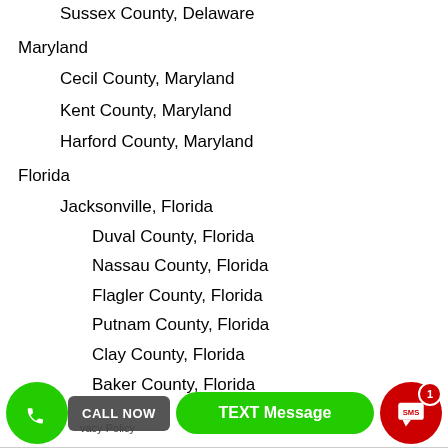Sussex County, Delaware
Maryland
Cecil County, Maryland
Kent County, Maryland
Harford County, Maryland
Florida
Jacksonville, Florida
Duval County, Florida
Nassau County, Florida
Flagler County, Florida
Putnam County, Florida
Clay County, Florida
Baker County, Florida
Privacy Policy